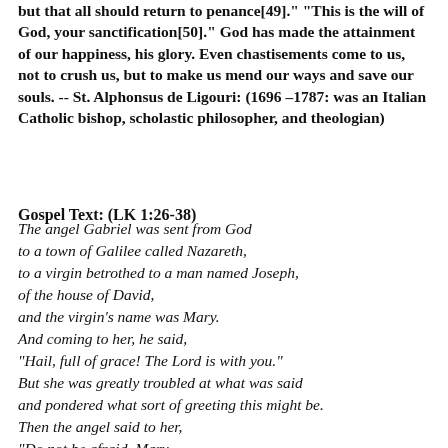but that all should return to penance[49]." "This is the will of God, your sanctification[50]." God has made the attainment of our happiness, his glory. Even chastisements come to us, not to crush us, but to make us mend our ways and save our souls. -- St. Alphonsus de Ligouri: (1696 –1787: was an Italian Catholic bishop, scholastic philosopher, and theologian)
Gospel Text: (LK 1:26-38)
The angel Gabriel was sent from God
to a town of Galilee called Nazareth,
to a virgin betrothed to a man named Joseph,
of the house of David,
and the virgin's name was Mary.
And coming to her, he said,
"Hail, full of grace! The Lord is with you."
But she was greatly troubled at what was said
and pondered what sort of greeting this might be.
Then the angel said to her,
"Do not be afraid, Mary,
for you have found favor with God.
Behold, you will conceive in your womb and bear a son,